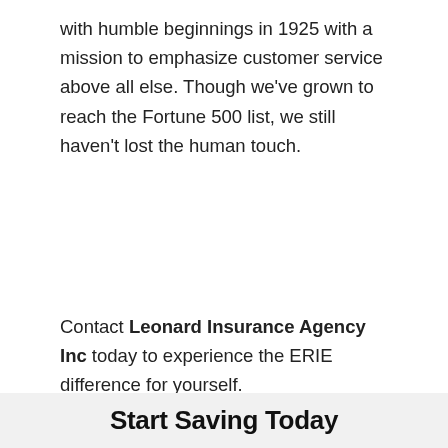with humble beginnings in 1925 with a mission to emphasize customer service above all else. Though we've grown to reach the Fortune 500 list, we still haven't lost the human touch.
Contact Leonard Insurance Agency Inc today to experience the ERIE difference for yourself.
FILED UNDER: CAR SENSE
Start Saving Today